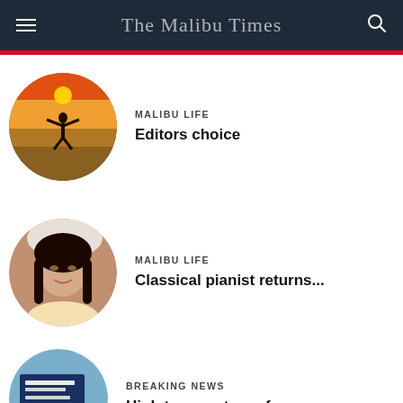The Malibu Times
[Figure (photo): Person on beach at sunset with arms raised, circular crop]
MALIBU LIFE
Editors choice
[Figure (photo): Portrait of a woman with long dark hair, circular crop]
MALIBU LIFE
Classical pianist returns...
[Figure (photo): Santa Monica Mountains road sign in outdoor landscape, circular crop]
BREAKING NEWS
High temperatures forecas...